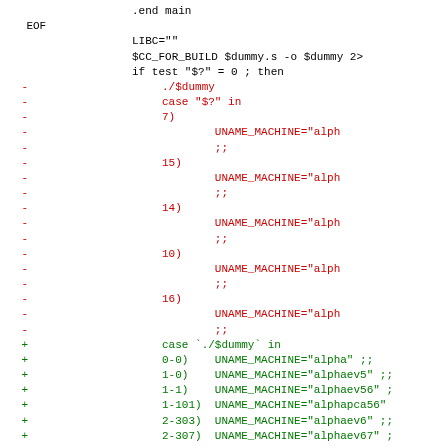Code diff showing shell script with removed lines (red, marked with -) and added lines (green, marked with +). Content includes .end main, EOF, LIBC, CC_FOR_BUILD, case statements with UNAME_MACHINE assignments for various alpha architecture variants (7, 15, 14, 10, 16) and replacement with 0-0, 1-0, 1-1, 1-101, 2-303, 2-307 case patterns ending with esac.